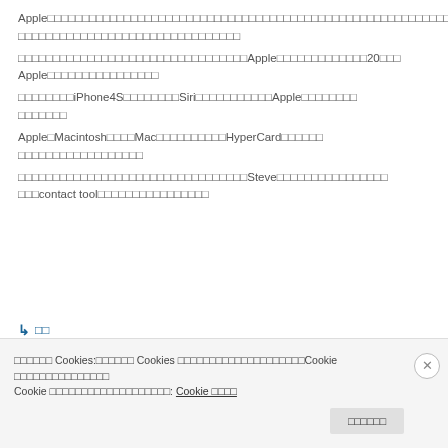Apple□□□□□□□□□□□□□□□□□□□□□□□□□□□□□□□□□□□□□□□□□□□□□□□□□□□□□□□□□□□□□□□□□□□□□□□□□□□□□□□□□□□□□□□□□□□□□□□
□□□□□□□□□□□□□□□□□□□□□□□□□□□□□□□□□Apple□□□□□□□□□□□□□20□□□Apple□□□□□□□□□□□□□□□□
□□□□□□□□iPhone4S□□□□□□□□Siri□□□□□□□□□□□Apple□□□□□□□□□□□□□□□□
Apple□Macintosh□□□□Mac□□□□□□□□□□HyperCard□□□□□□□□□□□□□□□□□□□□□
□□□□□□□□□□□□□□□□□□□□□□□□□□□□□□□□□Steve□□□□□□□□□□□□□□□□□contact tool□□□□□□□□□□□□□□□□
↳ □□
□□□□□□ Cookies:□□□□□□ Cookies □□□□□□□□□□□□□□□□□□□□Cookie □□□□□□□□□□□□□□□Cookie □□□□□□□□□□□□□□□□□□□: Cookie □□□□
□□□□□□